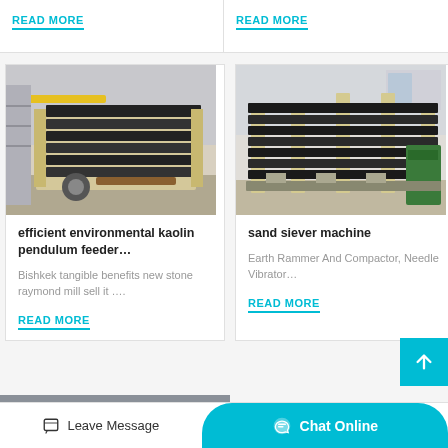READ MORE
READ MORE
[Figure (photo): Industrial vibrating screen / feeder machine in factory setting, cream-colored metal frame with black rubber/metal parts, warehouse background]
efficient environmental kaolin pendulum feeder…
Bishkek tangible benefits new stone raymond mill sell it ….
READ MORE
[Figure (photo): Industrial vibrating screen / sand sieving machine in factory setting, cream-colored metal frame with stacked black metal panels, green machinery visible at right]
sand siever machine
Earth Rammer And Compactor, Needle Vibrator…
READ MORE
[Figure (photo): Partially visible machine at bottom of page]
Leave Message
Chat Online